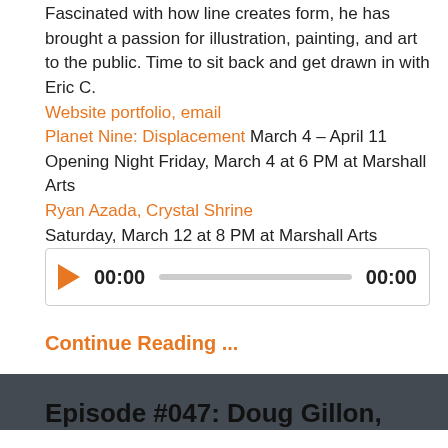Fascinated with how line creates form, he has brought a passion for illustration, painting, and art to the public. Time to sit back and get drawn in with Eric C.
Website portfolio, email
Planet Nine: Displacement March 4 – April 11
Opening Night Friday, March 4 at 6 PM at Marshall Arts
Ryan Azada, Crystal Shrine
Saturday, March 12 at 8 PM at Marshall Arts
[Figure (other): Audio player widget showing play button, 00:00 start time, progress bar, and 00:00 end time]
Continue Reading ...
Episode #047: Doug Gillon,